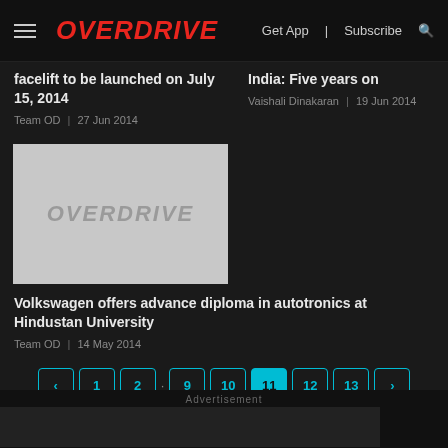OVERDRIVE | Get App | Subscribe
facelift to be launched on July 15, 2014
Team OD | 27 Jun 2014
India: Five years on
Vaishali Dinakaran | 19 Jun 2014
[Figure (logo): OVERDRIVE placeholder image with grey background]
Volkswagen offers advance diploma in autotronics at Hindustan University
Team OD | 14 May 2014
< 1 2 · 9 10 11 12 13 >
Advertisement